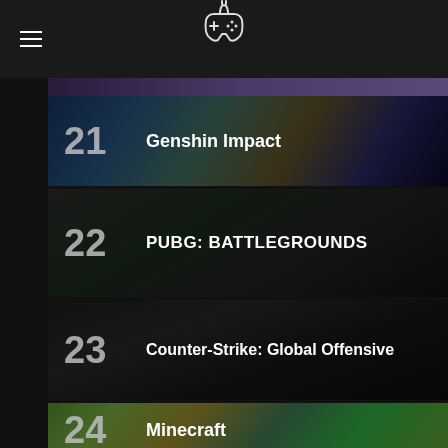Game Rankings — hamburger menu and controller icon
21 Genshin Impact
22 PUBG: BATTLEGROUNDS
23 Counter-Strike: Global Offensive
24 Minecraft